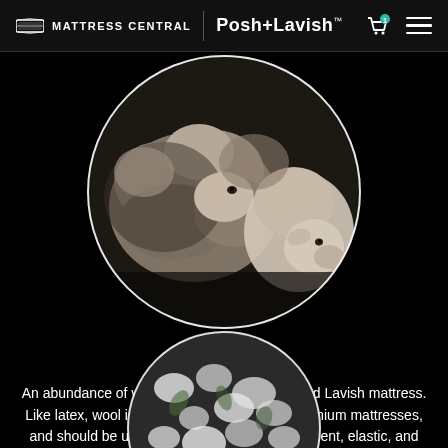MATTRESS CENTRAL | Posh+Lavish™
[Figure (photo): Black and white circular photo of sheep including a fluffy adult sheep and a younger sheep]
Wool
An abundance of wool is used in each Posh and Lavish mattress. Like latex, wool is a rarely used material in premium mattresses, and should be used more often. It is more resilient, elastic, and longer lasting than any type of polyester fibers.
[Figure (photo): Circular photo (partially visible at bottom) of what appears to be cotton or wool fibers]